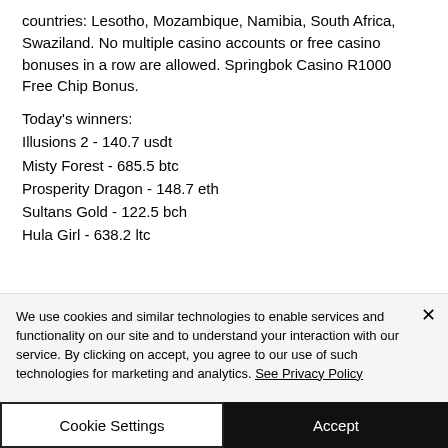countries: Lesotho, Mozambique, Namibia, South Africa, Swaziland. No multiple casino accounts or free casino bonuses in a row are allowed. Springbok Casino R1000 Free Chip Bonus.
Today's winners:
Illusions 2 - 140.7 usdt
Misty Forest - 685.5 btc
Prosperity Dragon - 148.7 eth
Sultans Gold - 122.5 bch
Hula Girl - 638.2 ltc
We use cookies and similar technologies to enable services and functionality on our site and to understand your interaction with our service. By clicking on accept, you agree to our use of such technologies for marketing and analytics. See Privacy Policy